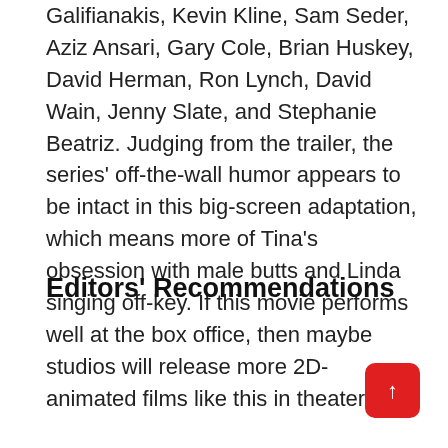Galifianakis, Kevin Kline, Sam Seder, Aziz Ansari, Gary Cole, Brian Huskey, David Herman, Ron Lynch, David Wain, Jenny Slate, and Stephanie Beatriz. Judging from the trailer, the series' off-the-wall humor appears to be intact in this big-screen adaptation, which means more of Tina's obsession with male butts and Linda singing off-key. If this movie performs well at the box office, then maybe studios will release more 2D-animated films like this in theaters.
Editors' Recommendations